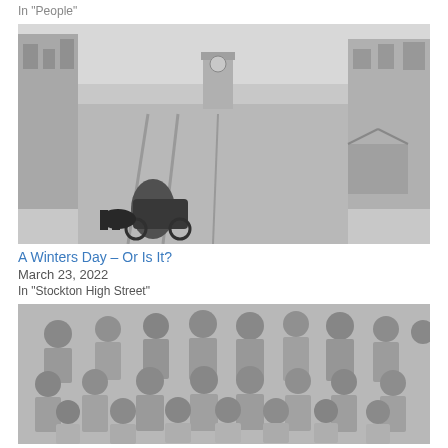In "People"
[Figure (photo): Black and white historical photograph of a wide street (Stockton High Street) in winter, with a horse-drawn cart in the foreground, buildings on both sides, and a clock tower in the background.]
A Winters Day – Or Is It?
March 23, 2022
In "Stockton High Street"
[Figure (photo): Black and white group photograph showing multiple rows of people (men and women) posed together, likely a workplace or community group photo.]